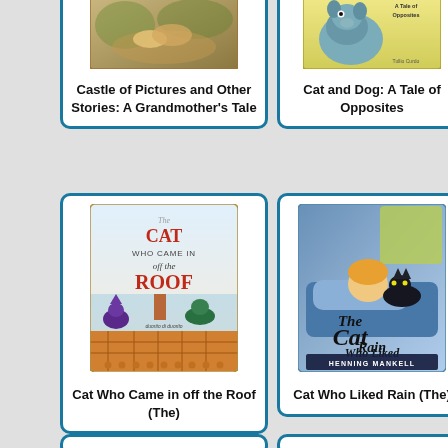[Figure (illustration): Book cover for Castle of Pictures and Other Stories: A Grandmother's Tale]
Castle of Pictures and Other Stories: A Grandmother's Tale
[Figure (illustration): Book cover for Cat and Dog: A Tale of Opposites]
Cat and Dog: A Tale of Opposites
[Figure (illustration): Book cover for The Cat Who Came in off the Roof]
Cat Who Came in off the Roof (The)
[Figure (illustration): Book cover for The Cat Who Liked Rain by Henning Mankell]
Cat Who Liked Rain (The)